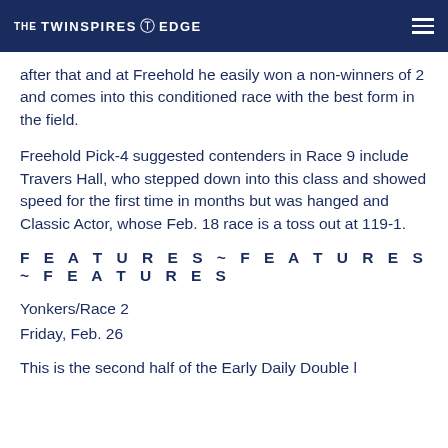THE TWINSPIRES EDGE
after that and at Freehold he easily won a non-winners of 2 and comes into this conditioned race with the best form in the field.
Freehold Pick-4 suggested contenders in Race 9 include Travers Hall, who stepped down into this class and showed speed for the first time in months but was hanged and Classic Actor, whose Feb. 18 race is a toss out at 119-1.
FEATURES ~ FEATURES ~ FEATURES
Yonkers/Race 2
Friday, Feb. 26
This is the second half of the Early Daily Double l